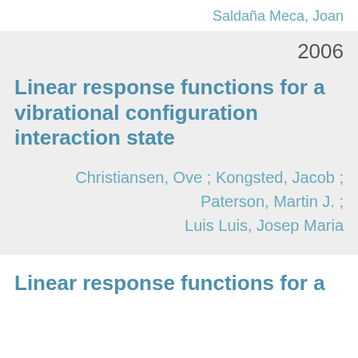Saldaña Meca, Joan
2006
Linear response functions for a vibrational configuration interaction state
Christiansen, Ove ; Kongsted, Jacob ; Paterson, Martin J. ; Luis Luis, Josep Maria
Linear response functions for a